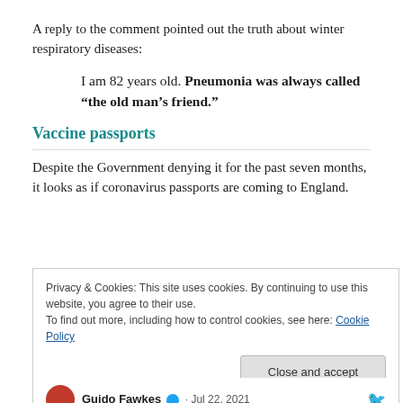A reply to the comment pointed out the truth about winter respiratory diseases:
I am 82 years old. Pneumonia was always called “the old man’s friend.”
Vaccine passports
Despite the Government denying it for the past seven months, it looks as if coronavirus passports are coming to England.
Privacy & Cookies: This site uses cookies. By continuing to use this website, you agree to their use.
To find out more, including how to control cookies, see here: Cookie Policy
Close and accept
Guido Fawkes ✓ · Jul 22, 2021